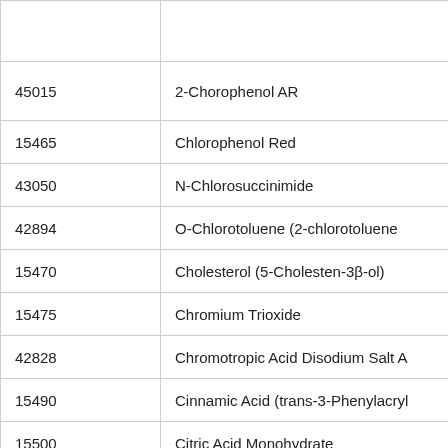|  |  |
| --- | --- |
| 45015 | 2-Chorophenol AR |
| 15465 | Chlorophenol Red |
| 43050 | N-Chlorosuccinimide |
| 42894 | O-Chlorotoluene (2-chlorotoluene |
| 15470 | Cholesterol (5-Cholesten-3β-ol) |
| 15475 | Chromium Trioxide |
| 42828 | Chromotropic Acid Disodium Salt A |
| 15490 | Cinnamic Acid (trans-3-Phenylacryl |
| 15500 | Citric Acid Monohydrate |
|  |  |